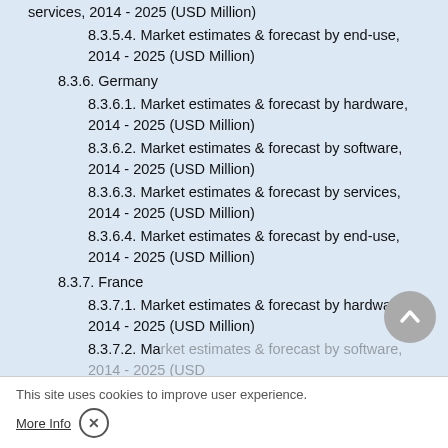services, 2014 - 2025 (USD Million)
8.3.5.4. Market estimates & forecast by end-use, 2014 - 2025 (USD Million)
8.3.6. Germany
8.3.6.1. Market estimates & forecast by hardware, 2014 - 2025 (USD Million)
8.3.6.2. Market estimates & forecast by software, 2014 - 2025 (USD Million)
8.3.6.3. Market estimates & forecast by services, 2014 - 2025 (USD Million)
8.3.6.4. Market estimates & forecast by end-use, 2014 - 2025 (USD Million)
8.3.7. France
8.3.7.1. Market estimates & forecast by hardware, 2014 - 2025 (USD Million)
8.3.7.2. Market estimates & forecast by software, 2014 - 2025 (USD Million)
8.3.7.3. Market estimates & forecast by services, 2014 - 2025 (USD Million)